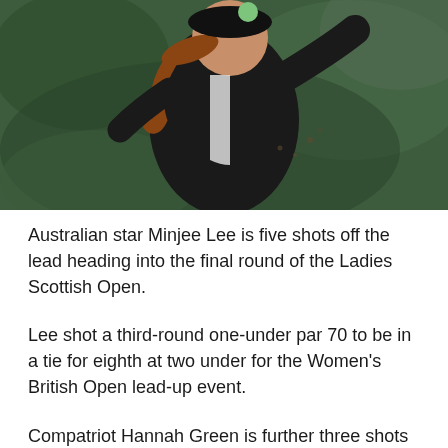[Figure (photo): Close-up photo of a female golfer in a black outfit with ponytail, mid-swing, on a golf course with blurred green background]
Australian star Minjee Lee is five shots off the lead heading into the final round of the Ladies Scottish Open.
Lee shot a third-round one-under par 70 to be in a tie for eighth at two under for the Women's British Open lead-up event.
Compatriot Hannah Green is further three shots back in equal 17th after matching Lee's third-round score.
Azahara Munoz birdied the 18th hole to take a one-